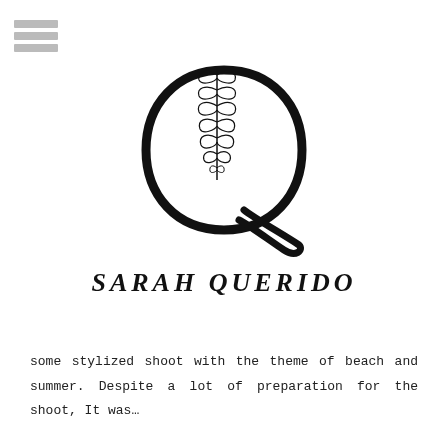[Figure (logo): Hamburger menu icon: three horizontal grey bars]
[Figure (logo): Decorative letter Q with botanical leaf illustration hanging from the top, in black line art style]
SARAH QUERIDO
some stylized shoot with the theme of beach and summer. Despite a lot of preparation for the shoot, It was…